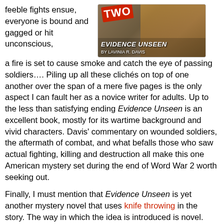feeble fights ensue, everyone is bound and gagged or hit unconscious,
[Figure (illustration): Book cover of 'Evidence Unseen' by Lavinia R. Davis, showing 'TWO' in red letters on a diagonal banner, with illustrated figures in a wartime style background.]
a fire is set to cause smoke and catch the eye of passing soldiers…. Piling up all these clichés on top of one another over the span of a mere five pages is the only aspect I can fault her as a novice writer for adults. Up to the less than satisfying ending Evidence Unseen is an excellent book, mostly for its wartime background and vivid characters. Davis' commentary on wounded soldiers, the aftermath of combat, and what befalls those who saw actual fighting, killing and destruction all make this one American mystery set during the end of Word War 2 worth seeking out.
Finally, I must mention that Evidence Unseen is yet another mystery novel that uses knife throwing in the story. The way in which the idea is introduced is novel. Larry is watching several laborers amusing themselves by tossing their pocketknives at a target with Hitler's face on it.  He then asks one man what kind of knives work best for throwing and how far they can be tossed. Intriguingly, knife throwing